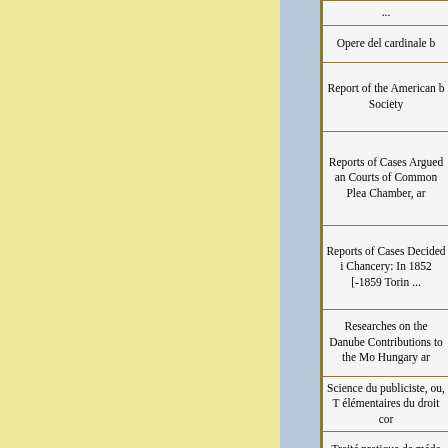| ... |
| Opere del cardinale b |
| Report of the American b Society |
| Reports of Cases Argued an Courts of Common Plea Chamber, ar |
| Reports of Cases Decided i Chancery: In 1852 [-1859 Torin ... |
| Researches on the Danube Contributions to the Mo Hungary ar |
| Science du publiciste, ou, T élémentaires du droit cor |
| Traité pratique de méde |
| Traité pratique des mala sexuels de la f |
| Untersuchungen über de elektrischen Erscheinu Atmosphäre: N |
| Vie de Saint Louis: b |